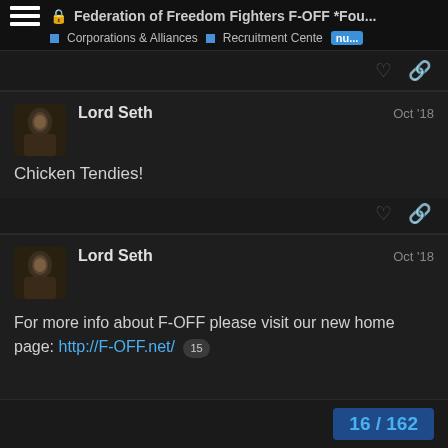Federation of Freedom Fighters F-OFF *Fou... | Corporations & Alliances | Recruitment Cente | nu...
Lord Seth  Oct '18
Chicken Tendies!
Lord Seth  Oct '18
For more info about F-OFF please visit our new home page: http://F-OFF.net/  15
16 / 162